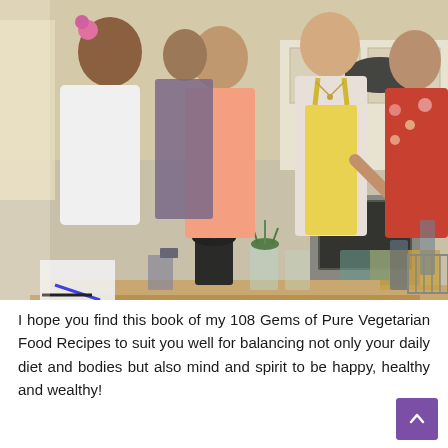[Figure (photo): A group of women gathered around a kitchen counter, cooking together. A woman in a yellow apron leans over the counter. There are plants, glasses, and kitchen items on the counter. Kitchen appliances visible in the background.]
I hope you find this book of my 108 Gems of Pure Vegetarian Food Recipes to suit you well for balancing not only your daily diet and bodies but also mind and spirit to be happy, healthy and wealthy!